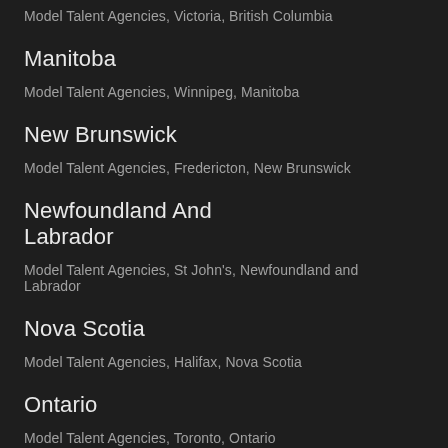Model Talent Agencies, Victoria, British Columbia
Manitoba
Model Talent Agencies, Winnipeg, Manitoba
New Brunswick
Model Talent Agencies, Fredericton, New Brunswick
Newfoundland And Labrador
Model Talent Agencies, St John's, Newfoundland and Labrador
Nova Scotia
Model Talent Agencies, Halifax, Nova Scotia
Ontario
Model Talent Agencies, Toronto, Ontario